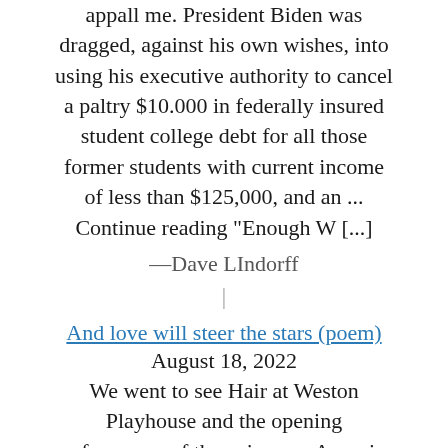appall me. President Biden was dragged, against his own wishes, into using his executive authority to cancel a paltry $10.000 in federally insured student college debt for all those former students with current income of less than $125,000, and an ... Continue reading "Enough W [...]
—Dave LIndorff
|
And love will steer the stars (poem)
August 18, 2022
We went to see Hair at Weston Playhouse and the opening performance of the epic song Aquarius